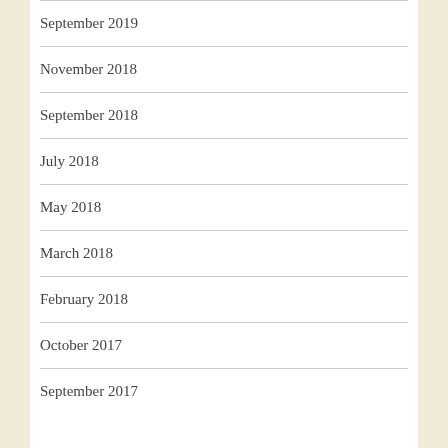September 2019
November 2018
September 2018
July 2018
May 2018
March 2018
February 2018
October 2017
September 2017